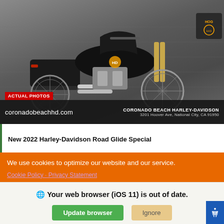[Figure (photo): Black 2022 Harley-Davidson Road Glide Special motorcycle photographed against a grey concrete wall background. Red 'ACTUAL PHOTOS' badge on lower left of image. Coronado Beach Harley-Davidson logo in top right corner. Bottom bar shows 'coronadobeachhd.com' and dealer name/address.]
coronadobeachhd.com | CORONADO BEACH HARLEY-DAVIDSON 3201 Hoover Ave, National City, CA 91950
New 2022 Harley-Davidson Road Glide Special
We use cookies to optimize our website and our service.
Cookie Policy · Privacy Statement
Your web browser (iOS 11) is out of date. Update your browser for more security, speed and the best experience on this site.
Update browser   Ignore